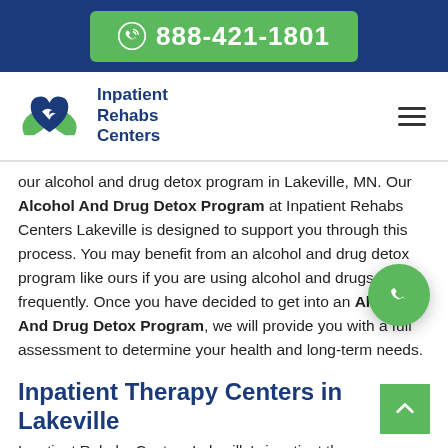888-421-1801
[Figure (logo): Inpatient Rehabs Centers logo with heart and hands graphic]
our alcohol and drug detox program in Lakeville, MN. Our Alcohol And Drug Detox Program at Inpatient Rehabs Centers Lakeville is designed to support you through this process. You may benefit from an alcohol and drug detox program like ours if you are using alcohol and drugs frequently. Once you have decided to get into an Alcohol And Drug Detox Program, we will provide you with a full assessment to determine your health and long-term needs.
Inpatient Therapy Centers in Lakeville
Inpatient Rehabs Centers Lakeville's inpatient therapy